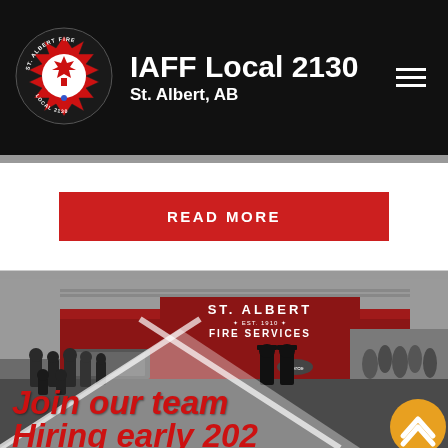[Figure (logo): IAFF Local 2130 St. Albert Fire badge logo — circular emblem with crossed axes and maple leaf, red and black, 'ST. ALBERT FIRE' and 'LOCAL 2130' text]
IAFF Local 2130
St. Albert, AB
READ MORE
[Figure (photo): Group of firefighters in uniform standing in front of a red St. Albert Fire Services truck with sign reading 'ST. ALBERT • EST. 1910 • FIRE SERVICES'. White chevron/triangle graphic overlay on the photo. Text overlay reads 'Join our team' and 'Hiring early 2020' in red italic bold font. Gold circular scroll-to-top button in bottom right corner.]